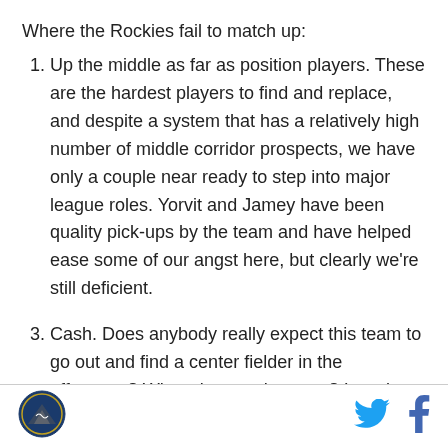Where the Rockies fail to match up:
Up the middle as far as position players. These are the hardest players to find and replace, and despite a system that has a relatively high number of middle corridor prospects, we have only a couple near ready to step into major league roles. Yorvit and Jamey have been quality pick-ups by the team and have helped ease some of our angst here, but clearly we're still deficient.
Cash. Does anybody really expect this team to go out and find a center fielder in the offseason? What about a shortstop? In order to find anybody worth pursuing at either of those positions the Rockies
[Figure (logo): Colorado Rockies logo circle with mountain/baseball design]
[Figure (logo): Twitter bird icon in cyan blue]
[Figure (logo): Facebook f icon in blue]